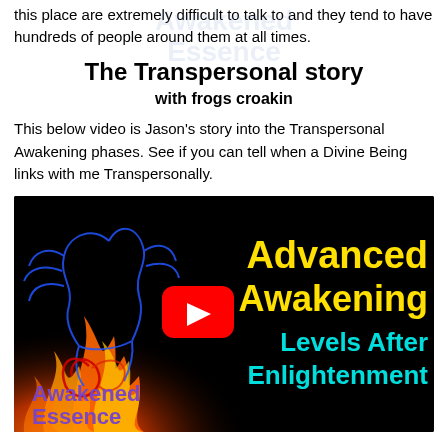this place are extremely difficult to talk to and they tend to have hundreds of people around them at all times.
The Transpersonal story
with frogs croakin
This below video is Jason's story into the Transpersonal Awakening phases. See if you can tell when a Divine Being links with me Transpersonally.
[Figure (screenshot): YouTube video thumbnail with black background. Left side shows fiery/flame illustration with blue outlined bird/phoenix figure and red swirl. Right side shows bold yellow text 'Advanced Awakening' and cyan text 'Levels After Enlightenment'. Red YouTube play button in center. Bottom left shows 'Awakened Essence' in purple text. Watermark 'Awakened Essence' visible in background.]